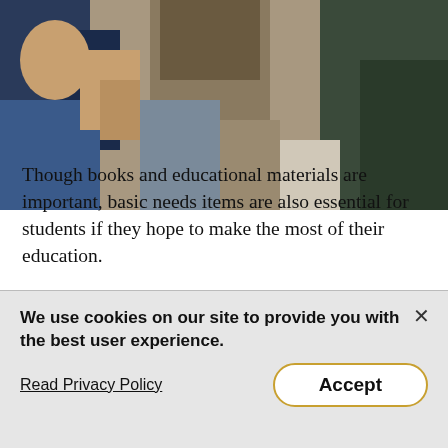[Figure (photo): Partial photo showing children and adults, appears to be in an educational or social setting. Image is cropped at the top of the page.]
Though books and educational materials are important, basic needs items are also essential for students if they hope to make the most of their education.
One student who participates with Link to Libraries had to miss time at school because of dental surgery, time that can be critical to their development.
“The fact is, this child’s teeth impacted their ability to go to
We use cookies on our site to provide you with the best user experience.
Read Privacy Policy
Accept